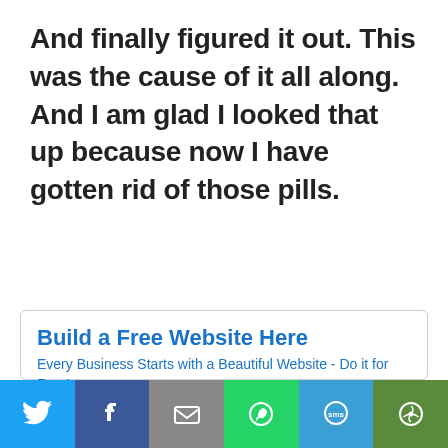And finally figured it out. This was the cause of it all along. And I am glad I looked that up because now I have gotten rid of those pills.
[Figure (screenshot): Advertisement widget for SiteRubix website builder with title 'Build a Free Website Here', subtitle 'Every Business Starts with a Beautiful Website - Do it for Free!', two input fields ('Enter a name for your Fre' and '.siterubix.com'), and a blue 'Build it Now' button.]
[Figure (infographic): Social sharing bar with six buttons: Twitter (blue), Facebook (dark blue), Email (grey), WhatsApp (green), SMS (blue), and More (dark green).]